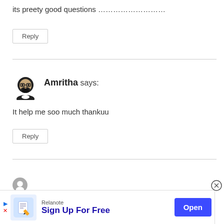its preety good questions ………………………
Reply
Amritha says:
It help me soo much thankuu
Reply
[Figure (illustration): Ad banner for Relanote with logo icon, 'Sign Up For Free' text and 'Open' button]
[Figure (illustration): User avatar icon for Amritha - cartoon face with glasses]